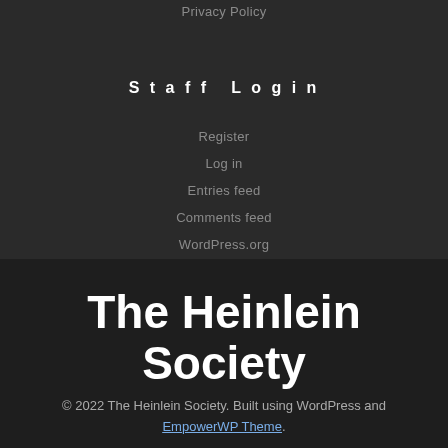Privacy Policy
Staff Login
Register
Log in
Entries feed
Comments feed
WordPress.org
The Heinlein Society
© 2022 The Heinlein Society. Built using WordPress and EmpowerWP Theme.